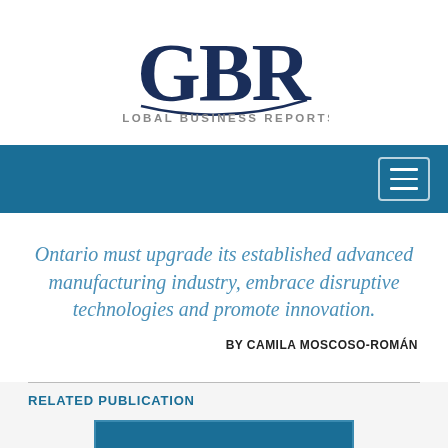[Figure (logo): GBR Global Business Reports logo — large dark navy 'GBR' lettering with a swoosh, and 'Global Business Reports' in spaced small-caps beneath]
[Figure (screenshot): Dark teal/blue navigation bar with a hamburger menu button (three horizontal lines) in the top-right corner]
Ontario must upgrade its established advanced manufacturing industry, embrace disruptive technologies and promote innovation.
BY CAMILA MOSCOSO-ROMÁN
RELATED PUBLICATION
[Figure (photo): Partial thumbnail image of a related publication, showing a blue/teal image at the bottom of the page]